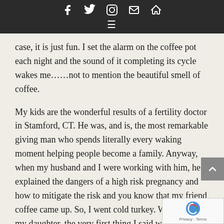Social media icons (Facebook, Twitter, Instagram, Email, Home) and hamburger menu
case, it is just fun.  I set the alarm on the coffee pot each night and the sound of it completing its cycle wakes me……not to mention the beautiful smell of coffee.

My kids are the wonderful results of a fertility doctor in Stamford, CT.  He was, and is, the most remarkable giving man who spends literally every waking moment helping people become a family.  Anyway, when my husband and I were working with him, he explained the dangers of a high risk pregnancy and how to mitigate the risk and you know that my friend coffee came up. So, I went cold turkey.  When I had my daughter, the very first thing I said was, " please get me a large cup